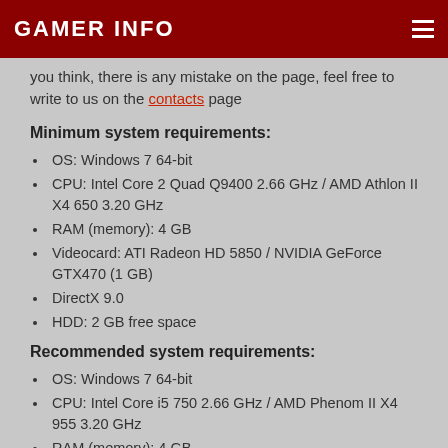GAMER INFO
you think, there is any mistake on the page, feel free to write to us on the contacts page
Minimum system requirements:
OS: Windows 7 64-bit
CPU: Intel Core 2 Quad Q9400 2.66 GHz / AMD Athlon II X4 650 3.20 GHz
RAM (memory): 4 GB
Videocard: ATI Radeon HD 5850 / NVIDIA GeForce GTX470 (1 GB)
DirectX 9.0
HDD: 2 GB free space
Recommended system requirements:
OS: Windows 7 64-bit
CPU: Intel Core i5 750 2.66 GHz / AMD Phenom II X4 955 3.20 GHz
RAM (memory): 4 GB